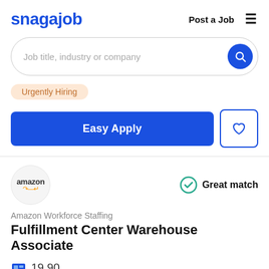snagajob   Post a Job  ≡
Job title, industry or company
Urgently Hiring
Easy Apply
Amazon Workforce Staffing
Fulfillment Center Warehouse Associate
Great match
19.90